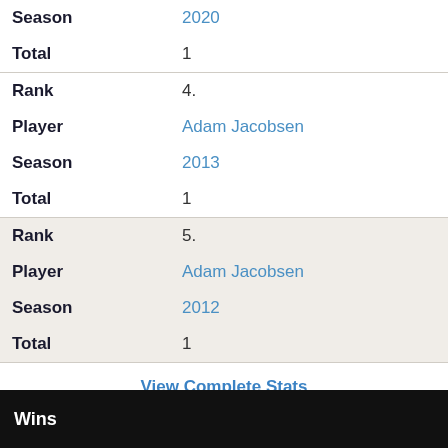| Field | Value |
| --- | --- |
| Season | 2020 |
| Total | 1 |
| Rank | 4. |
| Player | Adam Jacobsen |
| Season | 2013 |
| Total | 1 |
| Rank | 5. |
| Player | Adam Jacobsen |
| Season | 2012 |
| Total | 1 |
View Complete Stats
Wins